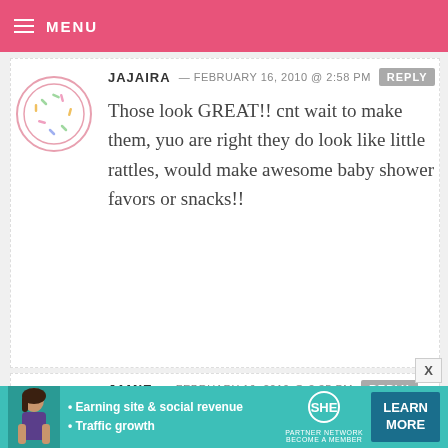MENU
JAJAIRA — FEBRUARY 16, 2010 @ 2:58 PM REPLY
Those look GREAT!! cnt wait to make them, yuo are right they do look like little rattles, would make awesome baby shower favors or snacks!!
JAMIE — FEBRUARY 16, 2010 @ 2:35 PM REPLY
While I absolutely love your baked goods, I am also crazy about your photos used in your posts. I'm working
[Figure (infographic): SHE Partner Network advertisement banner with woman photo, bullet points about Earning site & social revenue and Traffic growth, SHE logo, and LEARN MORE button]